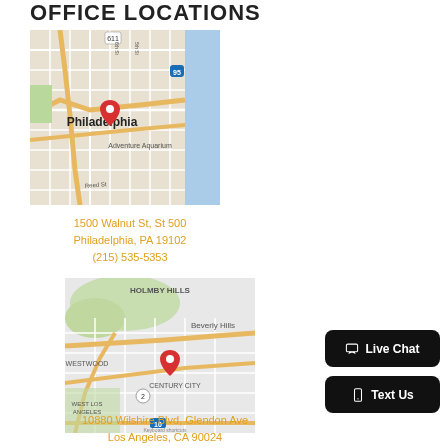OFFICE LOCATIONS
[Figure (map): Google Maps showing Philadelphia city center with red pin marker near 1500 Walnut St, Philadelphia, PA]
1500 Walnut St, St 500
Philadelphia, PA 19102
(215) 535-5353
[Figure (map): Google Maps showing Beverly Hills/Century City area with red pin marker near 10880 Wilshire Blvd, Los Angeles, CA]
10880 Wilshire Blvd, Glendon Ave
Los Angeles, CA 90024
Live Chat
Text Us